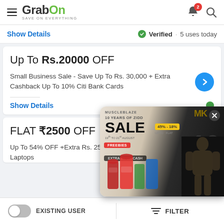GrabOn - SAVE ON EVERYTHING
Show Details · Verified · 5 uses today
Up To Rs.20000 OFF
Small Business Sale - Save Up To Rs. 30,000 + Extra Cashback Up To 10% Citi Bank Cards
Show Details
FLAT ₹2500 OFF
Up To 54% OFF +Extra Rs. 2500 OFF Laptops
[Figure (screenshot): MuscleBlaze 10 Years of Zidd Sale advertisement overlay showing supplement products and athlete, 45%-18% off, Extra 8% on Cash]
EXISTING USER | FILTER